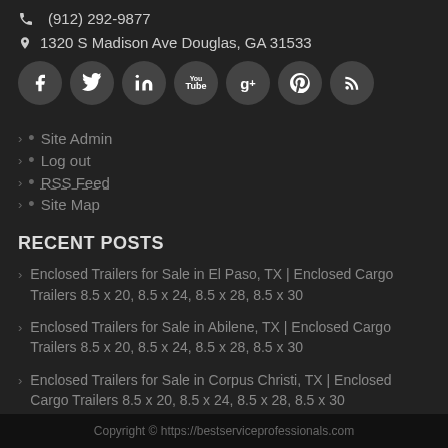(912) 292-9877
1320 S Madison Ave Douglas, GA 31533
[Figure (other): Social media icons: Facebook, Twitter, LinkedIn, YouTube, Google+, Pinterest, RSS]
Site Admin
Log out
RSS Feed
Site Map
RECENT POSTS
Enclosed Trailers for Sale in El Paso, TX | Enclosed Cargo Trailers 8.5 x 20, 8.5 x 24, 8.5 x 28, 8.5 x 30
Enclosed Trailers for Sale in Abilene, TX | Enclosed Cargo Trailers 8.5 x 20, 8.5 x 24, 8.5 x 28, 8.5 x 30
Enclosed Trailers for Sale in Corpus Christi, TX | Enclosed Cargo Trailers 8.5 x 20, 8.5 x 24, 8.5 x 28, 8.5 x 30
Copyright © https://bestserviceprofessionals.com